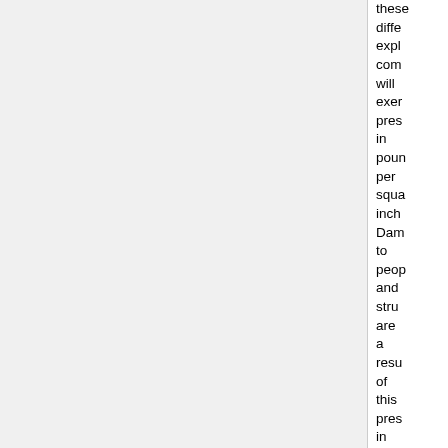these different explo- com- will exer- pres- in poun- per squa- inch Dam- to peop- and struc- are a resu- of this pres- in